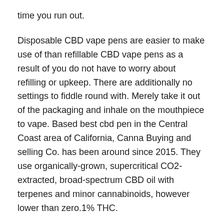time you run out.
Disposable CBD vape pens are easier to make use of than refillable CBD vape pens as a result of you do not have to worry about refilling or upkeep. There are additionally no settings to fiddle round with. Merely take it out of the packaging and inhale on the mouthpiece to vape. Based best cbd pen in the Central Coast area of California, Canna Buying and selling Co. has been around since 2015. They use organically-grown, supercritical CO2-extracted, broad-spectrum CBD oil with terpenes and minor cannabinoids, however lower than zero.1% THC.
You may read the mhra-assertion-on-merchandise-containing-cannabidiol-CBD to study more about the MHRA’s opinion on the regulatory status of merchandise containing CBD.” To study more about potential punishments surrounding sure penalties, check out the penaltiesdrug-possession-dealing article printed by the UK